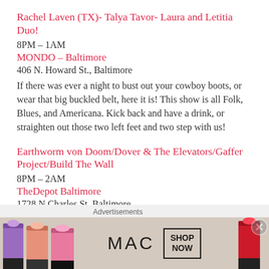Rachel Laven (TX)- Talya Tavor- Laura and Letitia Duo!
8PM – 1AM
MONDO – Baltimore
406 N. Howard St., Baltimore
If there was ever a night to bust out your cowboy boots, or wear that big buckled belt, here it is! This show is all Folk, Blues, and Americana. Kick back and have a drink, or straighten out those two left feet and two step with us!
Earthworm von Doom/Dover & The Elevators/Gaffer Project/Build The Wall
8PM – 2AM
TheDepot Baltimore
1728 N Charles St, Baltimore
Friends! We've got a noisy and fun evening planned for all of
[Figure (advertisement): MAC cosmetics advertisement showing lipsticks in purple, peach, and pink colors with MAC logo and SHOP NOW button]